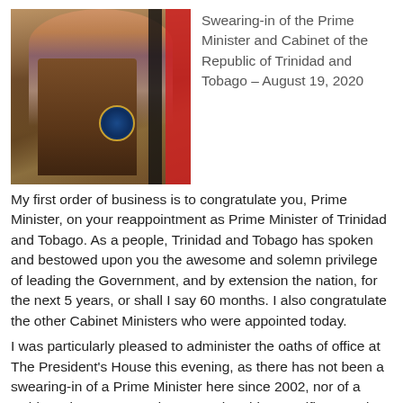[Figure (photo): Person in colorful attire standing at a wooden podium with the seal/coat of arms of Trinidad and Tobago, with red and black flags in the background.]
Swearing-in of the Prime Minister and Cabinet of the Republic of Trinidad and Tobago – August 19, 2020
My first order of business is to congratulate you, Prime Minister, on your reappointment as Prime Minister of Trinidad and Tobago. As a people, Trinidad and Tobago has spoken and bestowed upon you the awesome and solemn privilege of leading the Government, and by extension the nation, for the next 5 years, or shall I say 60 months. I also congratulate the other Cabinet Ministers who were appointed today.
I was particularly pleased to administer the oaths of office at The President's House this evening, as there has not been a swearing-in of a Prime Minister here since 2002, nor of a Cabinet since 2007, and I'm sure that this magnificent and historic building was happy to welcome you back.
I salute all Members of Parliament who have been victorious at the polls and thank the candidates who, though not ultimately